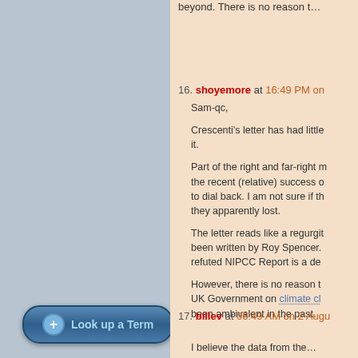beyond. There is no reason t…
16. shoyemore at 16:49 PM on …
Sam-qc,
Crescenti's letter has had little … it.
Part of the right and far-right … the recent (relative) success … to dial back. I am not sure if t… they apparently lost.
The letter reads like a regurgi… been written by Roy Spencer. refuted NIPCC Report is a de…
However, there is no reason t… UK Government on climate cl… been ambivalent in the past.
17. billev at 06:49 AM on 2 Augu…
I believe the data from the…
[Figure (screenshot): Look up a Term button at bottom of left panel]